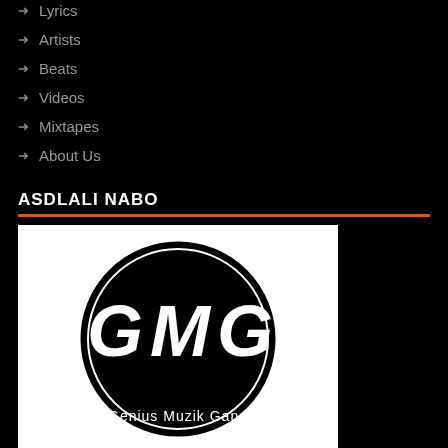Lyrics
Artists
Beats
Videos
Mixtapes
About Us
ASDLALI NABO
[Figure (logo): Genius Muzik Gang (GMG) circular logo — black circle with white stylized GMG letters and 'Genius Muzik Gang' text at the bottom]